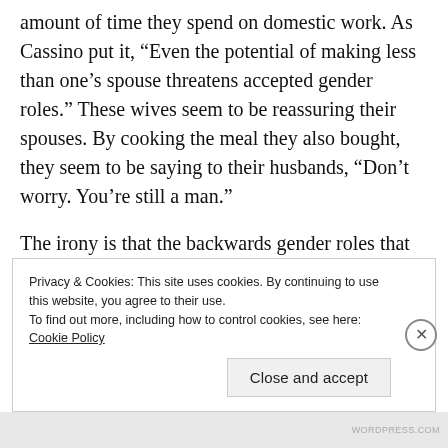amount of time they spend on domestic work. As Cassino put it, “Even the potential of making less than one’s spouse threatens accepted gender roles.” These wives seem to be reassuring their spouses. By cooking the meal they also bought, they seem to be saying to their husbands, “Don’t worry. You’re still a man.”
The irony is that the backwards gender roles that conservatives keep trying to shove down people’s
Privacy & Cookies: This site uses cookies. By continuing to use this website, you agree to their use.
To find out more, including how to control cookies, see here: Cookie Policy
Close and accept